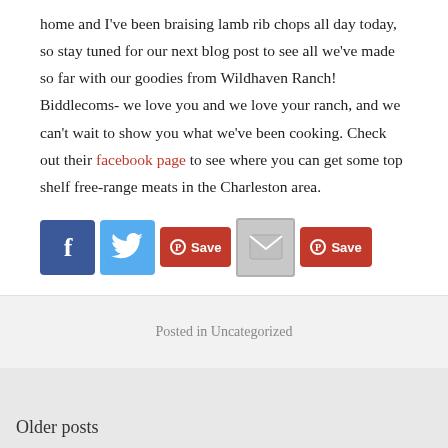home and I've been braising lamb rib chops all day today, so stay tuned for our next blog post to see all we've made so far with our goodies from Wildhaven Ranch! Biddlecoms- we love you and we love your ranch, and we can't wait to show you what we've been cooking. Check out their facebook page to see where you can get some top shelf free-range meats in the Charleston area.
[Figure (infographic): Social share buttons: Facebook (blue), Twitter (light blue), Pinterest Save (red), Email (gray envelope), Pinterest Save (red)]
Posted in Uncategorized
Older posts